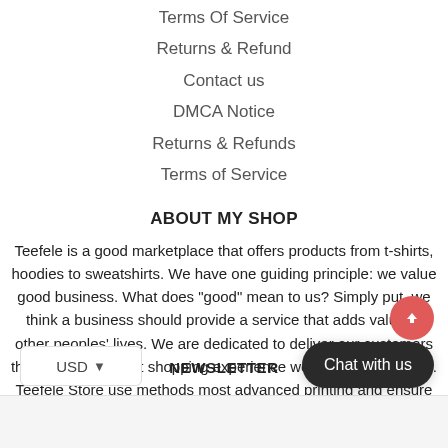Terms Of Service
Returns & Refund
Contact us
DMCA Notice
Returns & Refunds
Terms of Service
ABOUT MY SHOP
Teefele is a good marketplace that offers products from t-shirts, hoodies to sweatshirts. We have one guiding principle: we value good business. What does "good" mean to us? Simply put, we think a business should provide a service that adds value to other peoples' lives. We are dedicated to deliver our customers the kind of excellent shopping experience we would like to have. Teefele Store use methods most advanced printing and ensure a high quality product. Austria will not decay as cheap versions sold online, and will last a long time. It designed and print…
USD ▾
NEWSLETTER